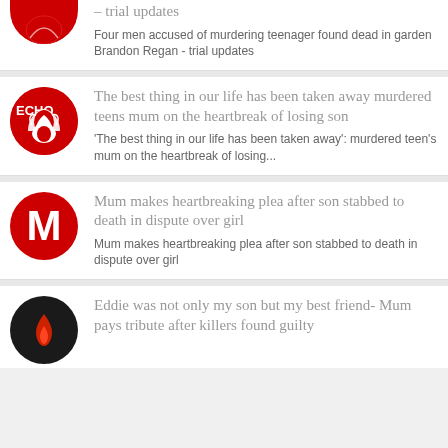– trial updates
Four men accused of murdering teenager found dead in garden Brandon Regan - trial updates
The best thing in our life has been taken away murdered teens mum on the heartbreak of losing son
'The best thing in our life has been taken away': murdered teen's mum on the heartbreak of losing...
Mum makes heartbreaking plea after son stabbed to death in dispute over girl
Mum makes heartbreaking plea after son stabbed to death in dispute over girl
Eddie was not only my son but my best friend- Mum pays tribute after killers found guilty